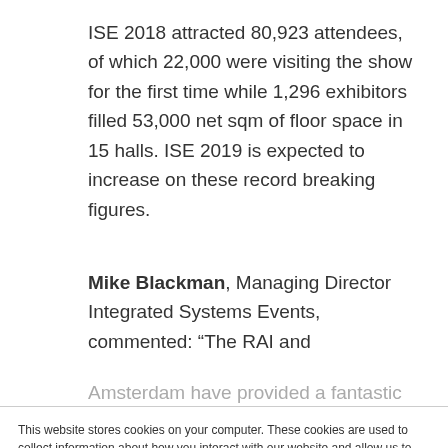ISE 2018 attracted 80,923 attendees, of which 22,000 were visiting the show for the first time while 1,296 exhibitors filled 53,000 net sqm of floor space in 15 halls. ISE 2019 is expected to increase on these record breaking figures.
Mike Blackman, Managing Director Integrated Systems Events, commented: “The RAI and Amsterdam have provided a fantastic location
This website stores cookies on your computer. These cookies are used to collect information about how you interact with our website and allow us to remember you. We use this information in order to improve and customize your browsing experience and for analytics and metrics about our visitors both on this website and other media. To find out more about the cookies we use, see our Privacy Policy.